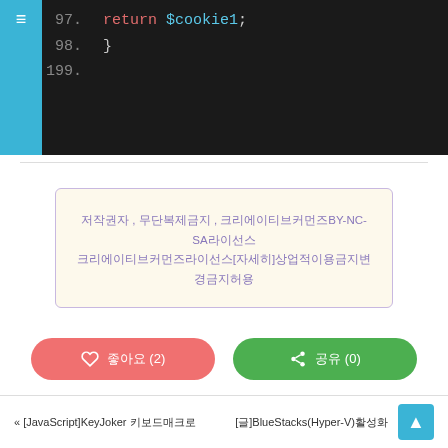[Figure (screenshot): Code editor screenshot showing PHP lines 197-199. Line 197: return $cookie1; Line 198: } Line 199: (empty)]
저작권자 , 무단복제금지 , 크리에이티브커먼즈BY-NC-SA라이선스 크리에이티브커먼즈라이선스[자세히]상업적이용금지변경금지허용
[Figure (infographic): Two buttons: red heart like button showing 좋아요 (2), green share button showing 공유 (0)]
[Figure (infographic): Tag icon with two circular tags: green tag and red/pink tag]
« [JavaScript]KeyJoker 키보드매크로    [글]BlueStacks(Hyper-V)활성화